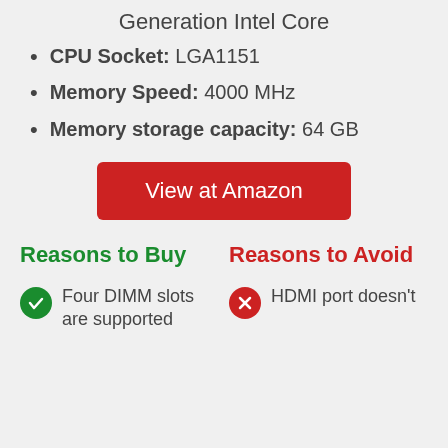Generation Intel Core
CPU Socket: LGA1151
Memory Speed: 4000 MHz
Memory storage capacity: 64 GB
View at Amazon
Reasons to Buy
Reasons to Avoid
Four DIMM slots are supported
HDMI port doesn't